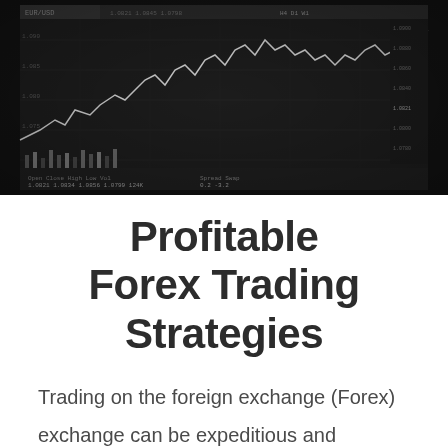[Figure (photo): Black and white close-up photograph of a trading terminal screen showing forex/financial charts with candlestick price data and multiple data panels]
Profitable Forex Trading Strategies
Trading on the foreign exchange (Forex) exchange can be expeditious and exciting. On the other hand, the fast-paced nature